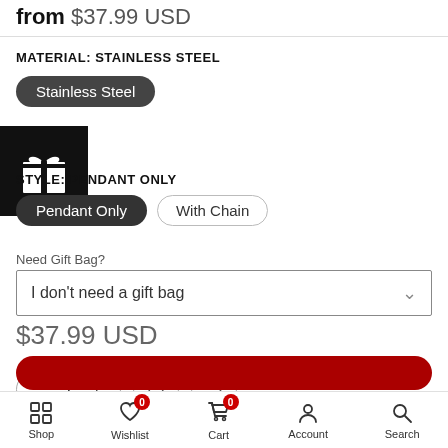from $37.99 USD
MATERIAL: STAINLESS STEEL
Stainless Steel
STYLE: PENDANT ONLY
Pendant Only | With Chain
Need Gift Bag?
I don't need a gift bag
$37.99 USD
- 1 +
Shop | Wishlist 0 | Cart 0 | Account | Search